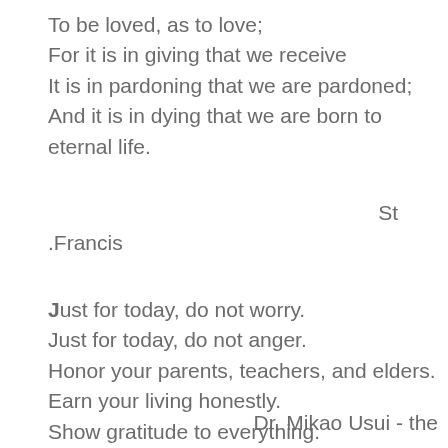To be loved, as to love;
For it is in giving that we receive
It is in pardoning that we are pardoned;
And it is in dying that we are born to eternal life.
St
.Francis
Just for today, do not worry.
Just for today, do not anger.
Honor your parents, teachers, and elders.
Earn your living honestly.
Show gratitude to everything.
Dr. Mikao Usui - the